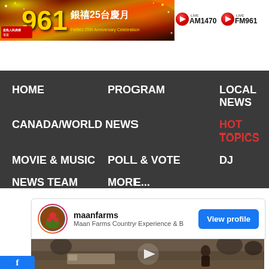[Figure (photo): FM961 25th Anniversary Celebration banner with Chinese characters 銀禧25台慶月 and colorful sparkle effects]
[Figure (infographic): Live radio buttons: LIVE AM1470 and LIVE FM961 with red play icons]
[Figure (screenshot): Navigation bar with dark background containing: HOME, PROGRAM, LOCAL NEWS, CANADA/WORLD NEWS, HOT TOPICS (in red), MOVIE & MUSIC, POLL & VOTE, DJ, NEWS TEAM, MORE...]
[Figure (screenshot): Instagram-style social card for maanfarms showing profile: Maan Farms Country Experience & B, with View profile button and video thumbnail with play button]
[Figure (photo): Video thumbnail showing a person in a wintry outdoor setting at Maan Farms, with a play button overlay]
[Figure (logo): Facebook blue strip at bottom left corner]